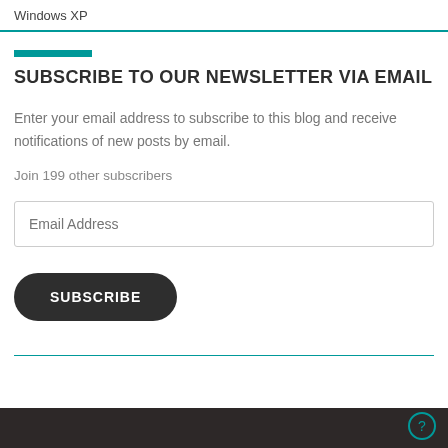Windows XP
SUBSCRIBE TO OUR NEWSLETTER VIA EMAIL
Enter your email address to subscribe to this blog and receive notifications of new posts by email.
Join 199 other subscribers
Email Address
SUBSCRIBE